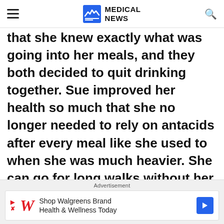Medical News
that she knew exactly what was going into her meals, and they both decided to quit drinking together. Sue improved her health so much that she no longer needed to rely on antacids after every meal like she used to when she was much heavier. She can go for long walks without her knees hurting, and her arthritis doesn't impact her life as much as it used to.
Advertisement
[Figure (other): Walgreens advertisement banner: Shop Walgreens Brand Health & Wellness Today]